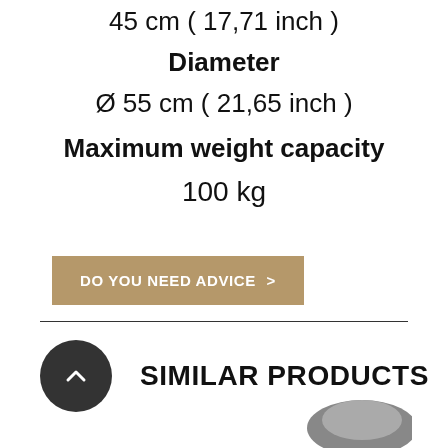45 cm ( 17,71 inch )
Diameter
Ø 55 cm ( 21,65 inch )
Maximum weight capacity
100 kg
DO YOU NEED ADVICE >
SIMILAR PRODUCTS